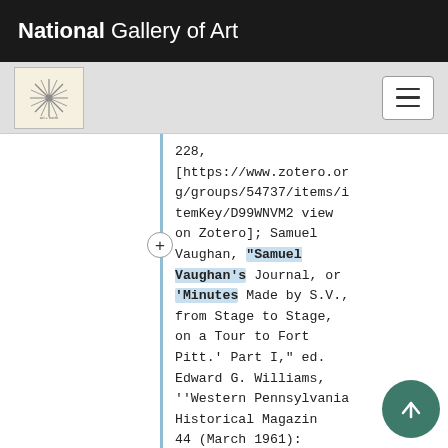National Gallery of Art
[Figure (logo): Small circular star/asterisk logo on cream background]
228, [https://www.zotero.org/groups/54737/items/itemKey/D99WNVM2 view on Zotero]; Samuel Vaughan, “Samuel Vaughan’s Journal, or ‘Minutes Made by S.V., from Stage to Stage, on a Tour to Fort Pitt.’ Part I,” ed. Edward G. Williams, ’’Western Pennsylvania Historical Magazine 44 (March 1961): 52&ndash;53, [https://www.zotero.or